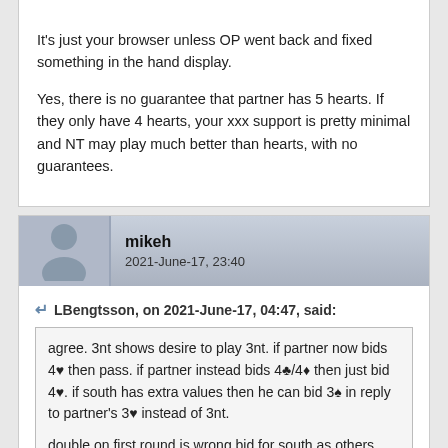It's just your browser unless OP went back and fixed something in the hand display.

Yes, there is no guarantee that partner has 5 hearts. If they only have 4 hearts, your xxx support is pretty minimal and NT may play much better than hearts, with no guarantees.
mikeh
2021-June-17, 23:40
LBengtsson, on 2021-June-17, 04:47, said:
agree. 3nt shows desire to play 3nt. if partner now bids 4♥ then pass. if partner instead bids 4♣/4♦ then just bid 4♥. if south has extra values then he can bid 3♠ in reply to partner's 3♥ instead of 3nt.

double on first round is wrong bid for south as others have said. either bid 1nt (borderline) or pass and wait for partner to balance if possible